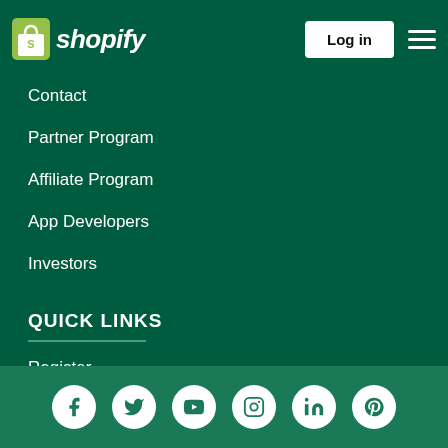[Figure (logo): Shopify logo with green shopping bag icon and italic white 'shopify' text]
Contact
Partner Program
Affiliate Program
App Developers
Investors
QUICK LINKS
Register
Log in
[Figure (infographic): Social media icons row: Facebook, Twitter, YouTube, Instagram, LinkedIn, Pinterest — white circles on teal background]